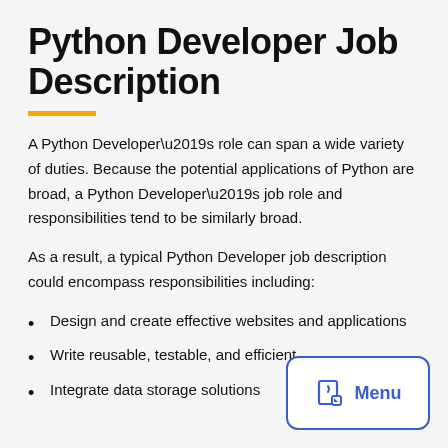Python Developer Job Description
A Python Developer’s role can span a wide variety of duties. Because the potential applications of Python are broad, a Python Developer’s job role and responsibilities tend to be similarly broad.
As a result, a typical Python Developer job description could encompass responsibilities including:
Design and create effective websites and applications
Write reusable, testable, and efficient
Integrate data storage solutions